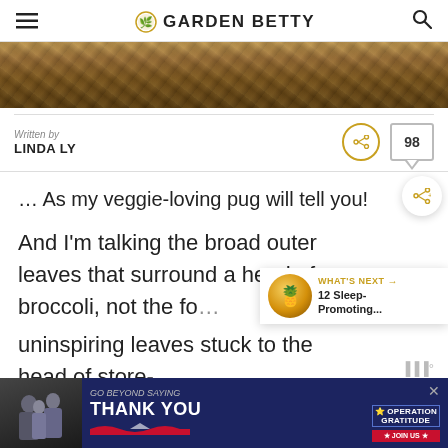GARDEN BETTY
[Figure (photo): Close-up photo strip of dried plant material, straw, or mulch in brown and golden tones]
Written by
LINDA LY
98
… As my veggie-loving pug will tell you!
And I'm talking the broad outer leaves that surround a head of broccoli, not the fo… uninspiring leaves stuck to the head of store- bo…
[Figure (infographic): What's Next widget showing: WHAT'S NEXT arrow, 12 Sleep-Promoting... with pineapple thumbnail]
[Figure (photo): Advertisement banner: GO BEYOND SAYING THANK YOU - Operation Gratitude JOIN US]